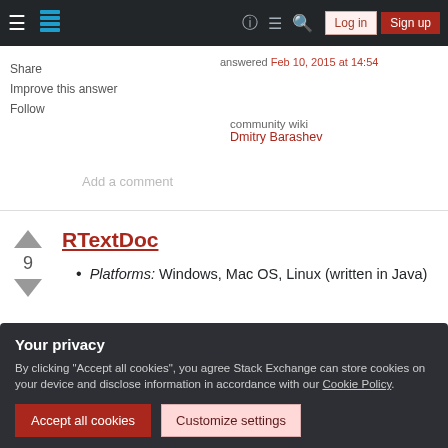Stack Exchange navigation bar with hamburger menu, logo, help, chat, search icons, Log in and Sign up buttons
Share
Improve this answer
Follow
answered Feb 10, 2015 at 14:54
community wiki
Dmitry Barashev
Add a comment
RTextDoc
Platforms: Windows, Mac OS, Linux (written in Java)
Your privacy
By clicking "Accept all cookies", you agree Stack Exchange can store cookies on your device and disclose information in accordance with our Cookie Policy.
Accept all cookies
Customize settings